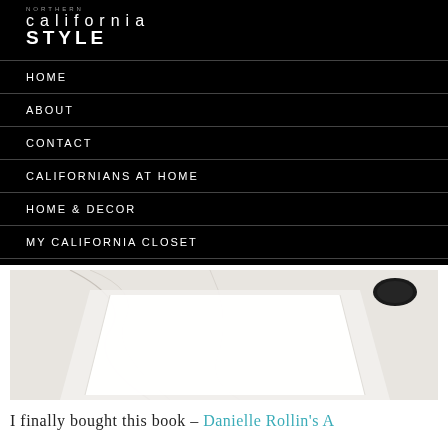NORTHERN california STYLE
HOME
ABOUT
CONTACT
CALIFORNIANS AT HOME
HOME & DECOR
MY CALIFORNIA CLOSET
[Figure (photo): Close-up photo of a white undermount sink with marble countertop and black faucet]
I finally bought this book – Danielle Rollin's A